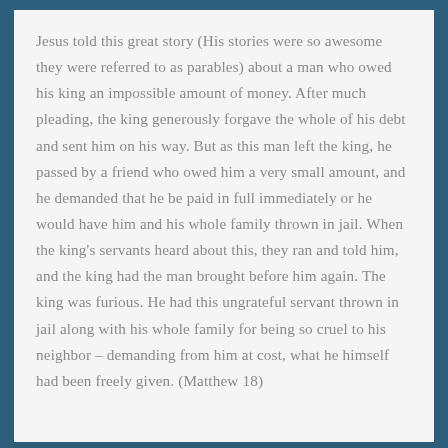Jesus told this great story (His stories were so awesome they were referred to as parables) about a man who owed his king an impossible amount of money. After much pleading, the king generously forgave the whole of his debt and sent him on his way. But as this man left the king, he passed by a friend who owed him a very small amount, and he demanded that he be paid in full immediately or he would have him and his whole family thrown in jail. When the king's servants heard about this, they ran and told him, and the king had the man brought before him again. The king was furious. He had this ungrateful servant thrown in jail along with his whole family for being so cruel to his neighbor – demanding from him at cost, what he himself had been freely given. (Matthew 18)